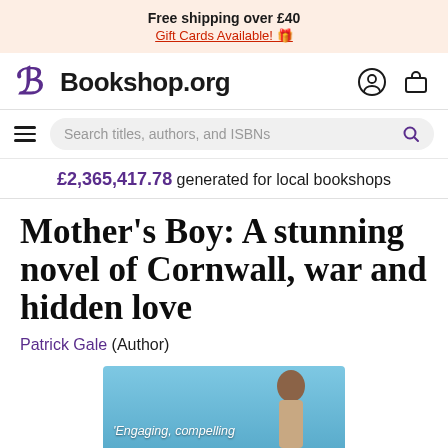Free shipping over £40
Gift Cards Available! 🎁
[Figure (logo): Bookshop.org logo with stylized B in purple and site name]
[Figure (screenshot): Search bar with placeholder 'Search titles, authors, and ISBNs' and hamburger menu]
£2,365,417.78 generated for local bookshops
Mother's Boy: A stunning novel of Cornwall, war and hidden love
Patrick Gale (Author)
[Figure (photo): Partial book cover showing blue sky background with text 'Engaging, compelling' and a figure]